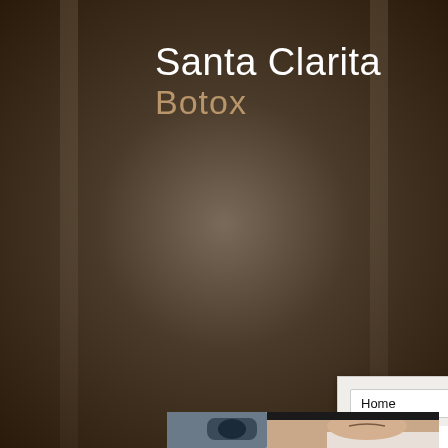Santa Clarita
Botox
[Figure (screenshot): Website screenshot showing a dropdown navigation menu with 'Home' selected, a white content area, pagination circles labeled 1 2 3 4 5 >, and a partial photo of a woman receiving a facial laser/beauty treatment.]